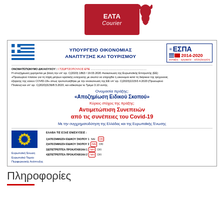[Figure (logo): ELTA Courier company logo on red background with white Hermes bird figure]
[Figure (infographic): Greek government certificate for ΕΣΠΑ 2014-2020 funding, Υπουργείο Οικονομίας Ανάπτυξης και Τουρισμού, showing Αποζημίωση Ειδικού Σκοπού action for Covid-19 consequences, with EU flag and benefit checkboxes]
Πληροφορίες